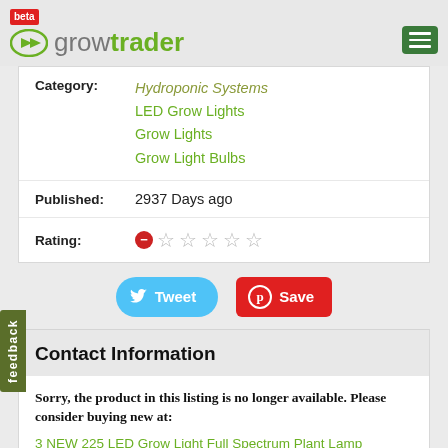beta growtrader
| Field | Value |
| --- | --- |
| Category: | Hydroponic Systems
LED Grow Lights
Grow Lights
Grow Light Bulbs |
| Published: | 2937 Days ago |
| Rating: | ☆☆☆☆☆ |
Tweet  Save
Contact Information
Sorry, the product in this listing is no longer available. Please consider buying new at: 3 NEW 225 LED Grow Light Full Spectrum Plant Lamp Hydroponic Soil
feedback